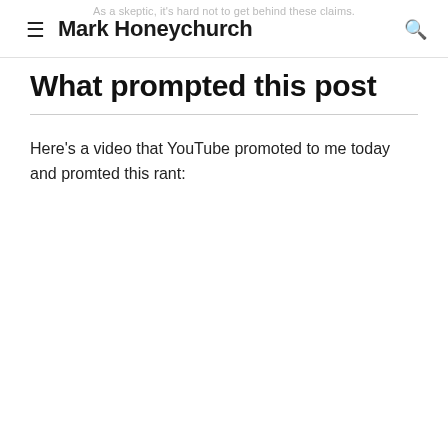As a skeptic, it's hard not to get behind these claims.
≡  Mark Honeychurch  🔍
What prompted this post
Here's a video that YouTube promoted to me today and promted this rant: